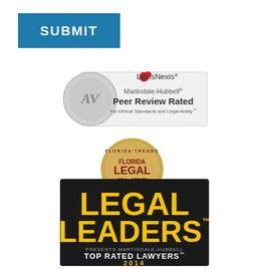[Figure (logo): SUBMIT button — blue rectangle with white bold text 'SUBMIT']
[Figure (logo): LexisNexis Martindale-Hubbell AV Peer Review Rated For Ethical Standards and Legal Ability badge]
[Figure (logo): Florida Trends Florida Legal Elite gold medallion badge]
[Figure (logo): Legal Leaders presents Martindale-Hubbell Top Rated Lawyers 2014 black and gold badge]